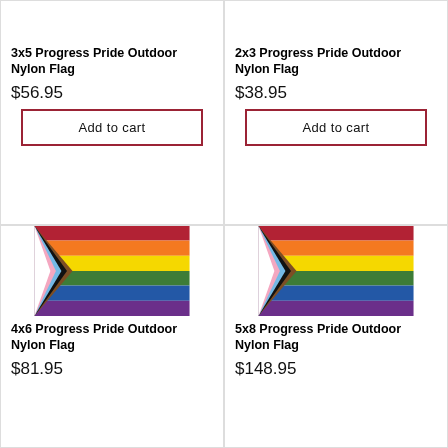[Figure (photo): Top portion of product image (partially visible) for 3x5 Progress Pride Outdoor Nylon Flag]
[Figure (photo): Top portion of product image (partially visible) for 2x3 Progress Pride Outdoor Nylon Flag]
3x5 Progress Pride Outdoor Nylon Flag
2x3 Progress Pride Outdoor Nylon Flag
$56.95
$38.95
Add to cart
Add to cart
[Figure (photo): Progress Pride flag (4x6) showing rainbow stripes with chevron of white, pink, light blue, brown, and black on the left side]
[Figure (photo): Progress Pride flag (5x8) showing rainbow stripes with chevron of white, pink, light blue, brown, and black on the left side]
4x6 Progress Pride Outdoor Nylon Flag
5x8 Progress Pride Outdoor Nylon Flag
$81.95
$148.95